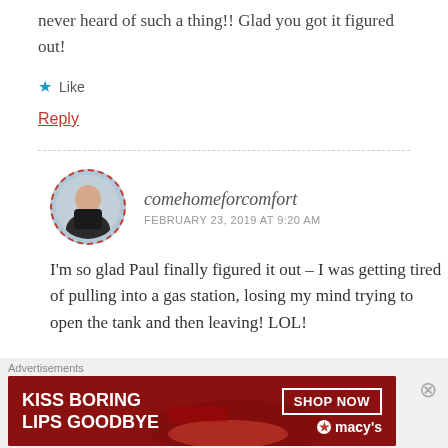never heard of such a thing!! Glad you got it figured out!
★ Like
Reply
comehomeforcomfort
FEBRUARY 23, 2019 AT 9:20 AM
I'm so glad Paul finally figured it out – I was getting tired of pulling into a gas station, losing my mind trying to open the tank and then leaving! LOL!
Advertisements
[Figure (photo): Advertisement banner for Macy's: KISS BORING LIPS GOODBYE with SHOP NOW button and Macy's logo on red background with woman's face]